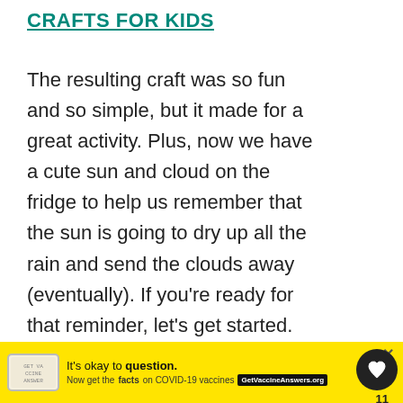CRAFTS FOR KIDS
The resulting craft was so fun and so simple, but it made for a great activity. Plus, now we have a cute sun and cloud on the fridge to help us remember that the sun is going to dry up all the rain and send the clouds away (eventually). If you're ready for that reminder, let's get started.
[Figure (infographic): What's Next banner with panda craft thumbnail image, arrow icon, and text 'WHAT'S NEXT → Easy Heart Panda Craft']
[Figure (infographic): Advertisement banner with yellow background: 'It's okay to question. Now get the facts on COVID-19 vaccines GetVaccineAnswers.org']